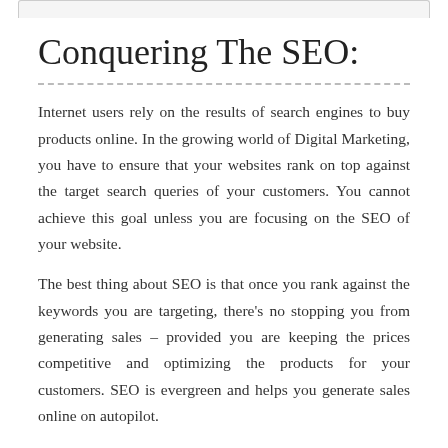Conquering The SEO:
Internet users rely on the results of search engines to buy products online. In the growing world of Digital Marketing, you have to ensure that your websites rank on top against the target search queries of your customers. You cannot achieve this goal unless you are focusing on the SEO of your website.
The best thing about SEO is that once you rank against the keywords you are targeting, there's no stopping you from generating sales – provided you are keeping the prices competitive and optimizing the products for your customers. SEO is evergreen and helps you generate sales online on autopilot.